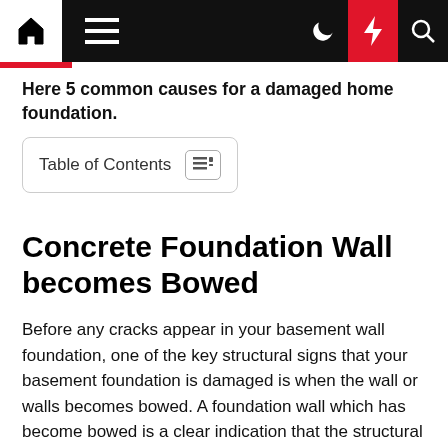Navigation bar with home, menu, moon, bolt, and search icons
Here 5 common causes for a damaged home foundation.
Table of Contents
Concrete Foundation Wall becomes Bowed
Before any cracks appear in your basement wall foundation, one of the key structural signs that your basement foundation is damaged is when the wall or walls becomes bowed. A foundation wall which has become bowed is a clear indication that the structural integrity is undergoing a serious problem.
A bow in the wall is a sign that an inordinate amount of uneven pressure is being applied to the wall.